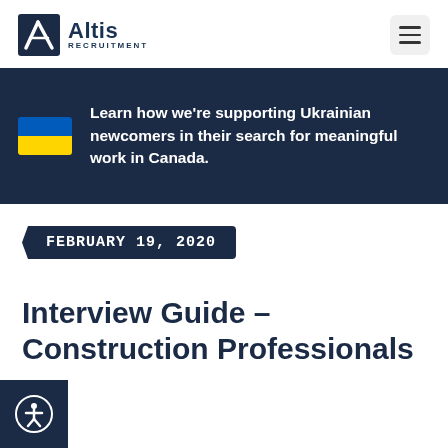Altis Recruitment
Learn how we're supporting Ukrainian newcomers in their search for meaningful work in Canada.
FEBRUARY 19, 2020
Interview Guide – Construction Professionals